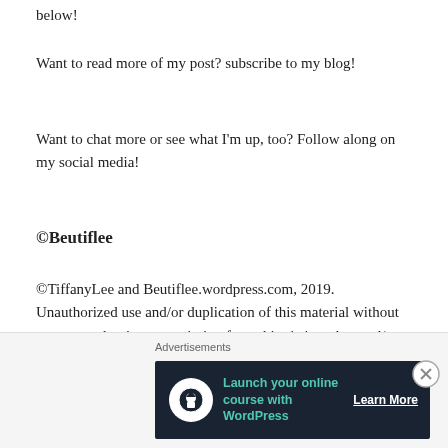below!
Want to read more of my post? subscribe to my blog!
Want to chat more or see what I'm up, too? Follow along on my social media!
©Beutiflee
©TiffanyLee and Beutiflee.wordpress.com, 2019. Unauthorized use and/or duplication of this material without express and written permission from this site's author and/or owner is strictly prohibited. Excerpts and links may be used, provided that full and clear credit is given to TiffanyLee and Beutiflee.wordpress.com with appropriate and specific direction to the original content
Advertisements
[Figure (other): Advertisement banner: 'Launch your online course with WordPress' with Learn More button on dark background]